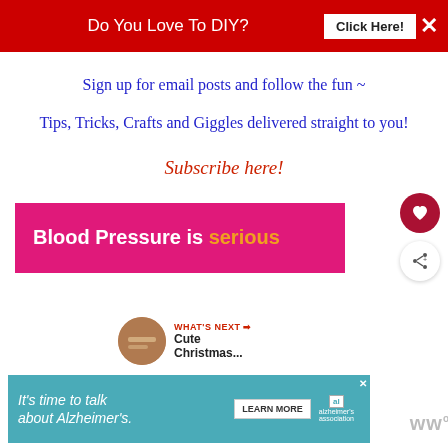Do You Love To DIY? Click Here! ×
Sign up for email posts and follow the fun ~
Tips, Tricks, Crafts and Giggles delivered straight to you!
Subscribe here!
[Figure (infographic): Pink/magenta banner ad reading 'Blood Pressure is serious']
[Figure (infographic): WHAT'S NEXT arrow with thumbnail and text 'Cute Christmas...']
[Figure (infographic): Teal advertisement banner: It's time to talk about Alzheimer's. Learn More. Alzheimer's Association logo.]